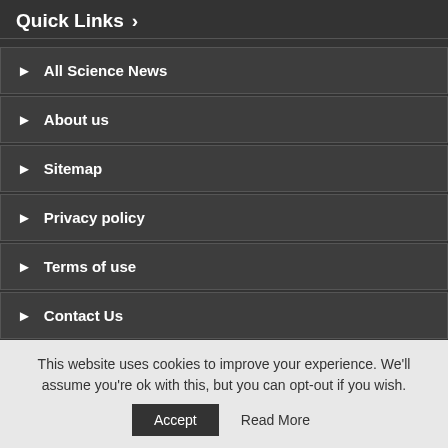Quick Links >
▶ All Science News
▶ About us
▶ Sitemap
▶ Privacy policy
▶ Terms of use
▶ Contact Us
COVID-19 Statistics >
This website uses cookies to improve your experience. We'll assume you're ok with this, but you can opt-out if you wish.
Accept  Read More